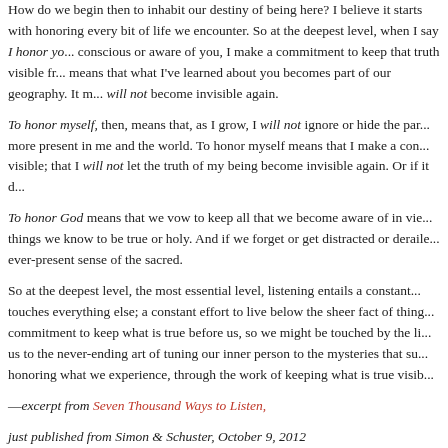How do we begin then to inhabit our destiny of being here? I believe it starts with honoring every bit of life we encounter. So at the deepest level, when I say I honor you, I mean I am conscious or aware of you, I make a commitment to keep that truth visible from now on. It means that what I've learned about you becomes part of our geography. It means that you will not become invisible again.
To honor myself, then, means that, as I grow, I will not ignore or hide the parts becoming more present in me and the world. To honor myself means that I make a commitment to keep visible; that I will not let the truth of my being become invisible again. Or if it does...
To honor God means that we vow to keep all that we become aware of in view of the things we know to be true or holy. And if we forget or get distracted or derailed, to restore an ever-present sense of the sacred.
So at the deepest level, the most essential level, listening entails a constant attention that touches everything else; a constant effort to live below the sheer fact of things; a constant commitment to keep what is true before us, so we might be touched by the living. This commits us to the never-ending art of tuning our inner person to the mysteries that surround us, and to honoring what we experience, through the work of keeping what is true visible.
—excerpt from Seven Thousand Ways to Listen,
just published from Simon & Schuster, October 9, 2012
A Question to Walk With: How do you honor yourself, that is, keep the truth of...